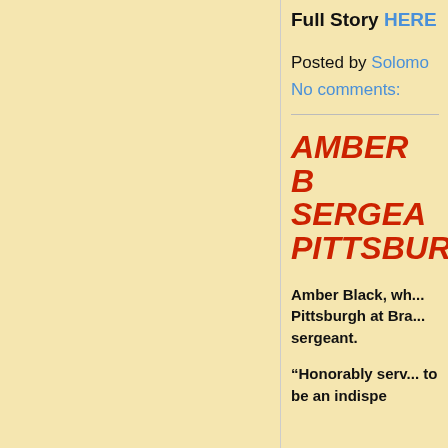Full Story HERE
Posted by Solomon
No comments:
AMBER B... SERGEA... PITTSBUR...
Amber Black, wh... Pittsburgh at Bra... sergeant.
“Honorably serv... to be an indispen...